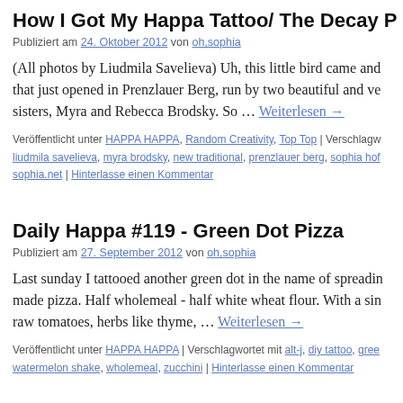How I Got My Happa Tattoo/ The Decay P
Publiziert am 24. Oktober 2012 von oh,sophia
(All photos by Liudmila Savelieva) Uh, this little bird came and that just opened in Prenzlauer Berg, run by two beautiful and ve sisters, Myra and Rebecca Brodsky. So … Weiterlesen →
Veröffentlicht unter HAPPA HAPPA, Random Creativity, Top Top | Verschlagw liudmila savelieva, myra brodsky, new traditional, prenzlauer berg, sophia hof sophia.net | Hinterlasse einen Kommentar
Daily Happa #119 - Green Dot Pizza
Publiziert am 27. September 2012 von oh,sophia
Last sunday I tattooed another green dot in the name of spreadin made pizza. Half wholemeal - half white wheat flour. With a sin raw tomatoes, herbs like thyme, … Weiterlesen →
Veröffentlicht unter HAPPA HAPPA | Verschlagwortet mit alt-j, diy tattoo, gree watermelon shake, wholemeal, zucchini | Hinterlasse einen Kommentar